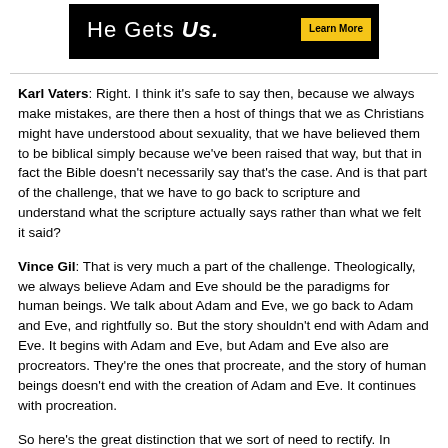[Figure (other): Advertisement banner with black background showing 'He Gets Us.' text and yellow 'Learn More' button]
Karl Vaters: Right. I think it's safe to say then, because we always make mistakes, are there then a host of things that we as Christians might have understood about sexuality, that we have believed them to be biblical simply because we've been raised that way, but that in fact the Bible doesn't necessarily say that's the case. And is that part of the challenge, that we have to go back to scripture and understand what the scripture actually says rather than what we felt it said?
Vince Gil: That is very much a part of the challenge. Theologically, we always believe Adam and Eve should be the paradigms for human beings. We talk about Adam and Eve, we go back to Adam and Eve, and rightfully so. But the story shouldn't end with Adam and Eve. It begins with Adam and Eve, but Adam and Eve also are procreators. They're the ones that procreate, and the story of human beings doesn't end with the creation of Adam and Eve. It continues with procreation.
So here's the great distinction that we sort of need to rectify. In